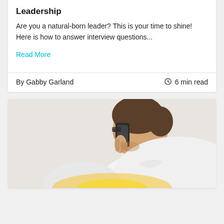Leadership
Are you a natural-born leader? This is your time to shine! Here is how to answer interview questions...
Read More
By Gabby Garland
6 min read
[Figure (photo): Person seen from behind holding a smartphone to their ear, wearing a white shirt, with warm sunlight visible at bottom]